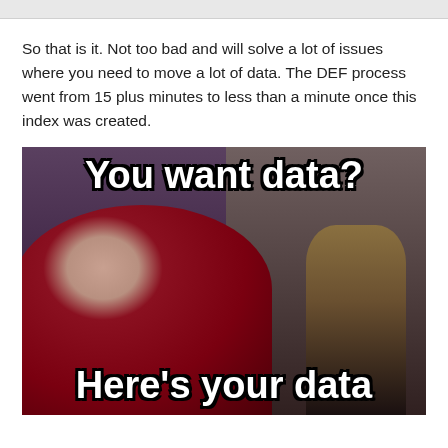So that is it. Not too bad and will solve a lot of issues where you need to move a lot of data. The DEF process went from 15 plus minutes to less than a minute once this index was created.
[Figure (photo): Internet meme image featuring a person in a red/maroon Star Trek uniform pointing toward the viewer with text 'You want data?' at the top and 'Here's your data' at the bottom]